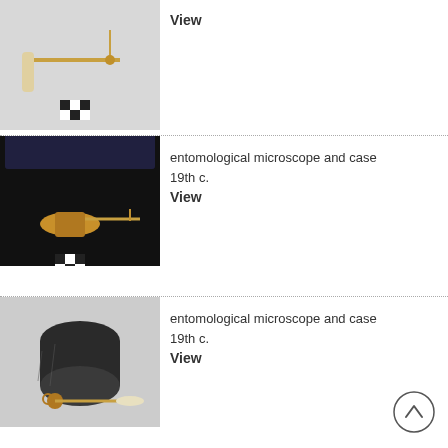[Figure (photo): Entomological microscope instrument with ivory handle and pin holder, brass construction, with checkered scale reference]
View
[Figure (photo): Entomological microscope and black rectangular case, brass instrument with pin stage]
entomological microscope and case
19th c.
View
[Figure (photo): Entomological microscope and dark worn cylindrical case with brass microscope instrument]
entomological microscope and case
19th c.
View